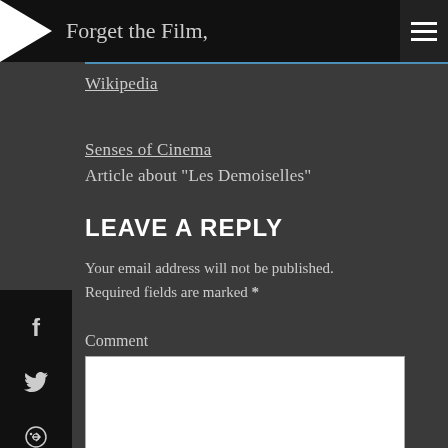Forget the Film,
Wikipedia
Senses of Cinema
Article about "Les Demoiselles"
LEAVE A REPLY
Your email address will not be published. Required fields are marked *
Comment